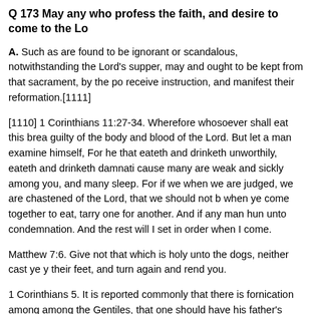Q 173 May any who profess the faith, and desire to come to the Lo
A. Such as are found to be ignorant or scandalous, notwithstanding their Lord's supper, may and ought to be kept from that sacrament, by the po receive instruction, and manifest their reformation.[1111]
[1110] 1 Corinthians 11:27-34. Wherefore whosoever shall eat this brea guilty of the body and blood of the Lord. But let a man examine himself, For he that eateth and drinketh unworthily, eateth and drinketh damnati cause many are weak and sickly among you, and many sleep. For if we when we are judged, we are chastened of the Lord, that we should not b when ye come together to eat, tarry one for another. And if any man hun unto condemnation. And the rest will I set in order when I come.
Matthew 7:6. Give not that which is holy unto the dogs, neither cast ye y their feet, and turn again and rend you.
1 Corinthians 5. It is reported commonly that there is fornication among among the Gentiles, that one should have his father's wife. And ye are p hath done this deed might be taken away from among you. For I verily,